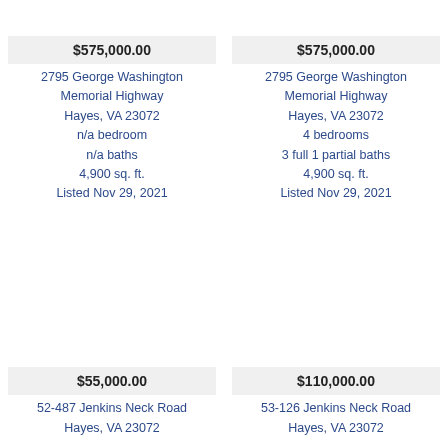$575,000.00
2795 George Washington Memorial Highway
Hayes, VA 23072
n/a bedroom
n/a baths
4,900 sq. ft.
Listed Nov 29, 2021
$575,000.00
2795 George Washington Memorial Highway
Hayes, VA 23072
4 bedrooms
3 full 1 partial baths
4,900 sq. ft.
Listed Nov 29, 2021
$55,000.00
52-487 Jenkins Neck Road
Hayes, VA 23072
$110,000.00
53-126 Jenkins Neck Road
Hayes, VA 23072